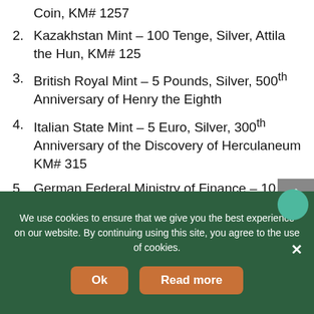Coin, KM# 1257
2. Kazakhstan Mint – 100 Tenge, Silver, Attila the Hun, KM# 125
3. British Royal Mint – 5 Pounds, Silver, 500th Anniversary of Henry the Eighth
4. Italian State Mint – 5 Euro, Silver, 300th Anniversary of the Discovery of Herculaneum KM# 315
5. German Federal Ministry of Finance – 10 Euro, Silver, 400th Anniversary of the Birth of Johannes Kepler, KM# 280
We use cookies to ensure that we give you the best experience on our website. By continuing using this site, you agree to the use of cookies.